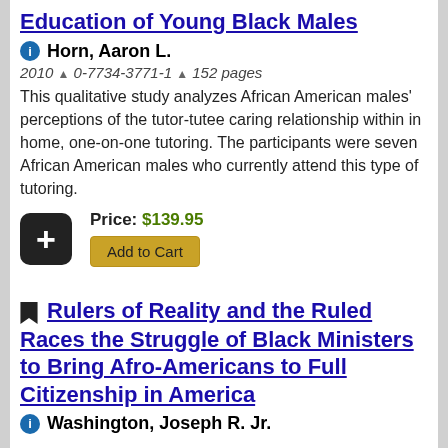Education of Young Black Males
Horn, Aaron L.
2010 ▲ 0-7734-3771-1 ▲ 152 pages
This qualitative study analyzes African American males' perceptions of the tutor-tutee caring relationship within in home, one-on-one tutoring. The participants were seven African American males who currently attend this type of tutoring.
Price: $139.95
Add to Cart
Rulers of Reality and the Ruled Races the Struggle of Black Ministers to Bring Afro-Americans to Full Citizenship in America
Washington, Joseph R. Jr.